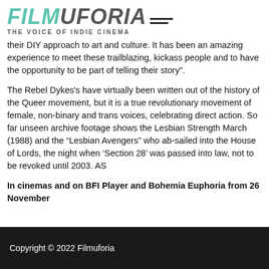FILMUFORIA — THE VOICE OF INDIE CINEMA
their DIY approach to art and culture. It has been an amazing experience to meet these trailblazing, kickass people and to have the opportunity to be part of telling their story".
The Rebel Dykes's have virtually been written out of the history of the Queer movement, but it is a true revolutionary movement of female, non-binary and trans voices, celebrating direct action. So far unseen archive footage shows the Lesbian Strength March (1988) and the “Lesbian Avengers” who ab-sailed into the House of Lords, the night when ‘Section 28’ was passed into law, not to be revoked until 2003. AS
In cinemas and on BFI Player and Bohemia Euphoria from 26 November
Copyright © 2022 Filmuforia